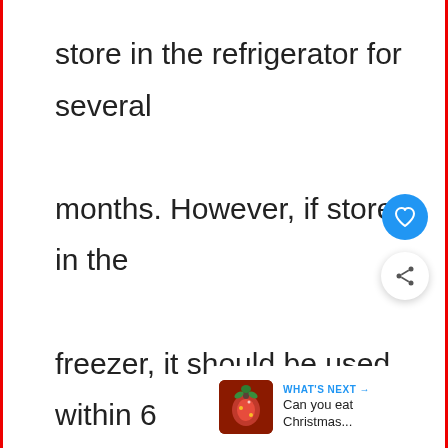store in the refrigerator for several months. However, if stored in the freezer, it should be used within 6 months. Sesame oil is very stable and can last indefinitely in the refrigera
[Figure (screenshot): UI overlay with a blue circular heart/favorite button and a white circular share button with share icon]
[Figure (screenshot): "What's Next" widget showing a thumbnail of Christmas decorations and the text "Can you eat Christmas..."]